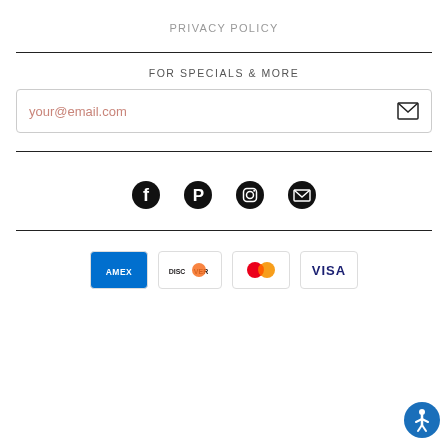PRIVACY POLICY
FOR SPECIALS & MORE
your@email.com
[Figure (infographic): Social media icons row: Facebook, Pinterest, Instagram, Email/envelope]
[Figure (infographic): Payment method logos: American Express, Discover, Mastercard, Visa]
[Figure (infographic): Accessibility button (blue circle with person icon) in bottom right corner]